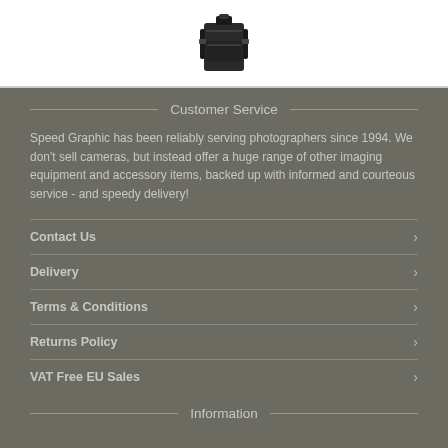[Figure (photo): Photo of a black camera backpack on white background]
Customer Service
Speed Graphic has been reliably serving photographers since 1994. We don't sell cameras, but instead offer a huge range of other imaging equipment and accessory items, backed up with informed and courteous service - and speedy delivery!
Contact Us
Delivery
Terms & Conditions
Returns Policy
VAT Free EU Sales
Information